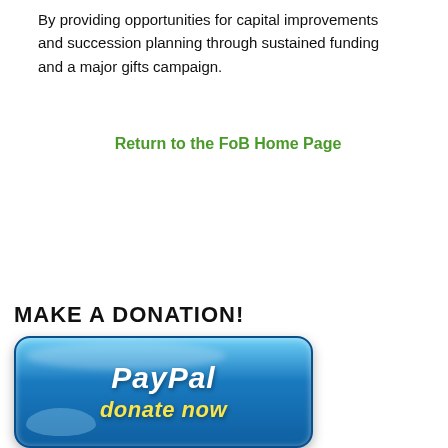By providing opportunities for capital improvements and succession planning through sustained funding and a major gifts campaign.
Return to the FoB Home Page
MAKE A DONATION!
[Figure (illustration): PayPal donate now button — a rounded blue gradient button with PayPal logo in white italic bold text and 'donate now' in yellow italic bold text below it.]